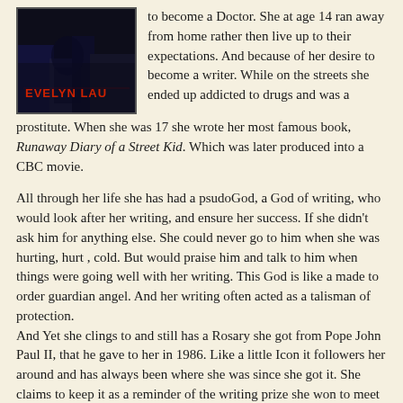[Figure (illustration): Book cover image with dark blue/purple tones showing 'EVELYN LAU' in red/dark red text]
to become a Doctor. She at age 14 ran away from home rather then live up to their expectations. And because of her desire to become a writer. While on the streets she ended up addicted to drugs and was a prostitute. When she was 17 she wrote her most famous book, Runaway Diary of a Street Kid. Which was later produced into a CBC movie.
All through her life she has had a psudoGod, a God of writing, who would look after her writing, and ensure her success. If she didn't ask him for anything else. She could never go to him when she was hurting, hurt , cold. But would praise him and talk to him when things were going well with her writing. This God is like a made to order guardian angel. And her writing often acted as a talisman of protection.
And Yet she clings to and still has a Rosary she got from Pope John Paul II, that he gave to her in 1986. Like a little Icon it followers her around and has always been where she was since she got it. She claims to keep it as a reminder of the writing prize she won to meet the pope. But it seems like more than just that.